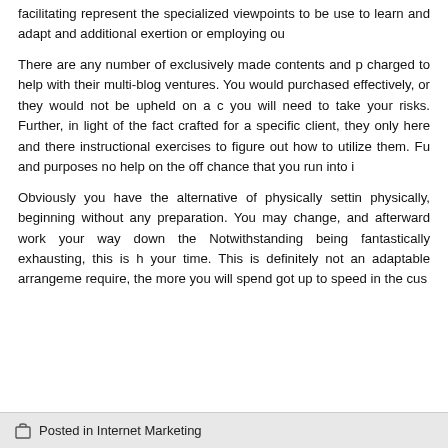facilitating represent the specialized viewpoints to be used to learn and adapt and additional exertion or employing ou
There are any number of exclusively made contents and p charged to help with their multi-blog ventures. You would purchased effectively, or they would not be upheld on a c you will need to take your risks. Further, in light of the fact crafted for a specific client, they only here and there instructional exercises to figure out how to utilize them. Fu and purposes no help on the off chance that you run into i
Obviously you have the alternative of physically settin physically, beginning without any preparation. You may change, and afterward work your way down the Notwithstanding being fantastically exhausting, this is h your time. This is definitely not an adaptable arrangeme require, the more you will spend got up to speed in the cus
Posted in Internet Marketing